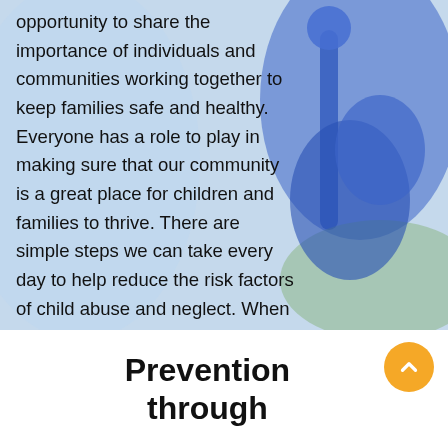[Figure (photo): Background photo of a child with blue object, overlaid with text about community and child safety]
opportunity to share the importance of individuals and communities working together to keep families safe and healthy. Everyone has a role to play in making sure that our community is a great place for children and families to thrive. There are simple steps we can take every day to help reduce the risk factors of child abuse and neglect. When the well-being of children and families becomes the priority of everyone in a community, child abuse and neglect cases will decrease.
Prevention through